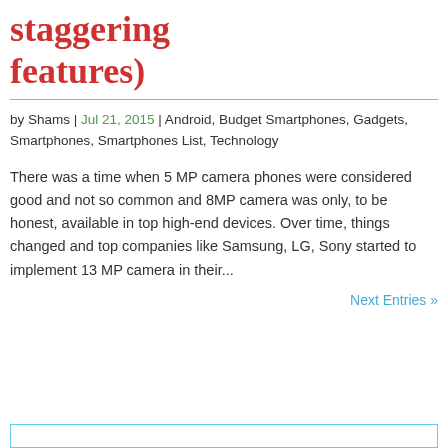staggering features)
by Shams | Jul 21, 2015 | Android, Budget Smartphones, Gadgets, Smartphones, Smartphones List, Technology
There was a time when 5 MP camera phones were considered good and not so common and 8MP camera was only, to be honest, available in top high-end devices. Over time, things changed and top companies like Samsung, LG, Sony started to implement 13 MP camera in their...
Next Entries »